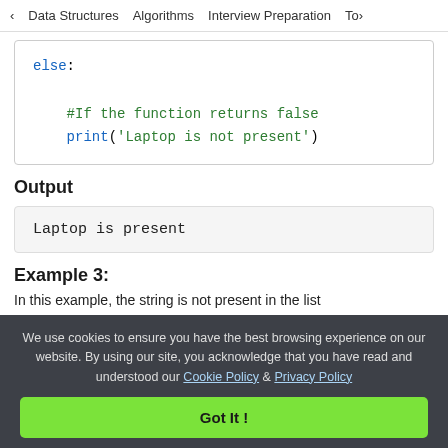< Data Structures   Algorithms   Interview Preparation   To>
[Figure (screenshot): Code block showing Python else clause with comment '#If the function returns false' and print statement print('Laptop is not present')]
Output
Laptop is present
Example 3:
In this example, the string is not present in the list
We use cookies to ensure you have the best browsing experience on our website. By using our site, you acknowledge that you have read and understood our Cookie Policy & Privacy Policy
Got It !